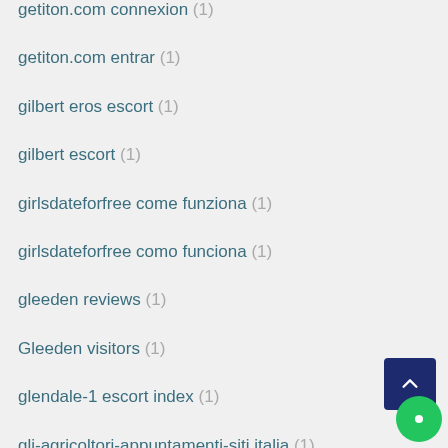getiton.com connexion (1)
getiton.com entrar (1)
gilbert eros escort (1)
gilbert escort (1)
girlsdateforfree come funziona (1)
girlsdateforfree como funciona (1)
gleeden reviews (1)
Gleeden visitors (1)
glendale-1 escort index (1)
gli-agricoltori-appuntamenti-siti italia (1)